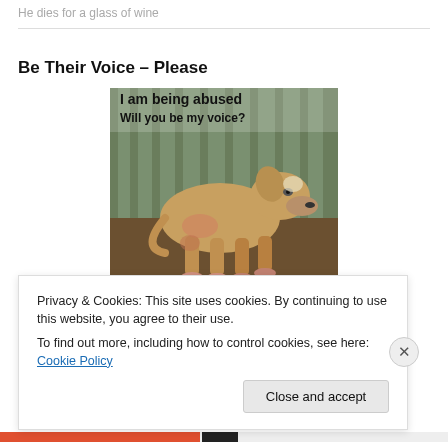He dies for a glass of wine
Be Their Voice – Please
[Figure (photo): A mangy, malnourished dog with skin disease crouching against a fence in dirt. Text overlay reads: 'I am being abused Will you be my voice?']
Privacy & Cookies: This site uses cookies. By continuing to use this website, you agree to their use.
To find out more, including how to control cookies, see here: Cookie Policy
Close and accept